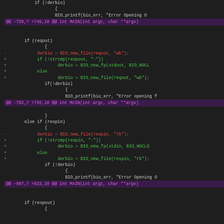[Figure (screenshot): Code diff view showing changes to C source file with diff headers in magenta, removed lines in red, added lines in green, and context lines in light gray on dark background.]